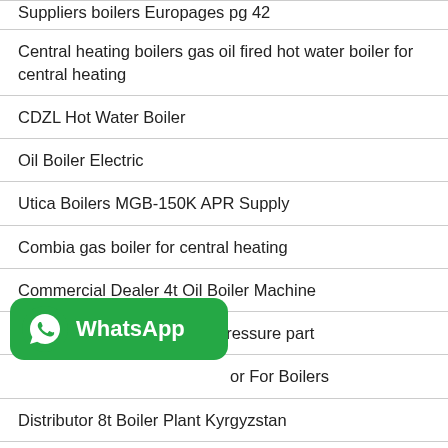Suppliers boilers Europages pg 42
Central heating boilers gas oil fired hot water boiler for central heating
CDZL Hot Water Boiler
Oil Boiler Electric
Utica Boilers MGB-150K APR Supply
Combia gas boiler for central heating
Commercial Dealer 4t Oil Boiler Machine
boiler Agent 1x25 mw map pressure part
… or For Boilers
Distributor 8t Boiler Plant Kyrgyzstan